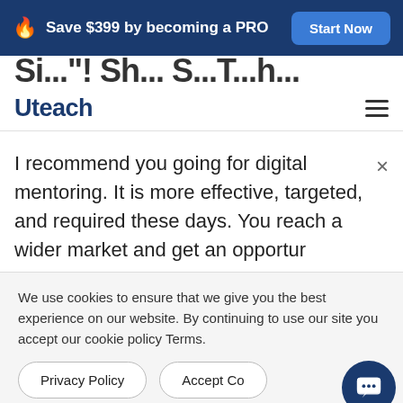Save $399 by becoming a PRO  Start Now
[Figure (logo): Uteach logo with hamburger menu]
I recommend you going for digital mentoring. It is more effective, targeted, and required these days. You reach a wider market and get an opportur
We use cookies to ensure that we give you the best experience on our website. By continuing to use our site you accept our cookie policy Terms.
Privacy Policy  Accept Co
One of such platforms is Uteach. Here you may